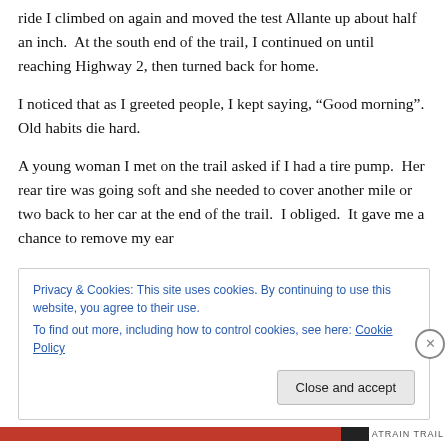ride I climbed on again and moved the test Allante up about half an inch. At the south end of the trail, I continued on until reaching Highway 2, then turned back for home.
I noticed that as I greeted people, I kept saying, “Good morning”. Old habits die hard.
A young woman I met on the trail asked if I had a tire pump. Her rear tire was going soft and she needed to cover another mile or two back to her car at the end of the trail. I obliged. It gave me a chance to remove my ear
Privacy & Cookies: This site uses cookies. By continuing to use this website, you agree to their use.
To find out more, including how to control cookies, see here: Cookie Policy
Close and accept